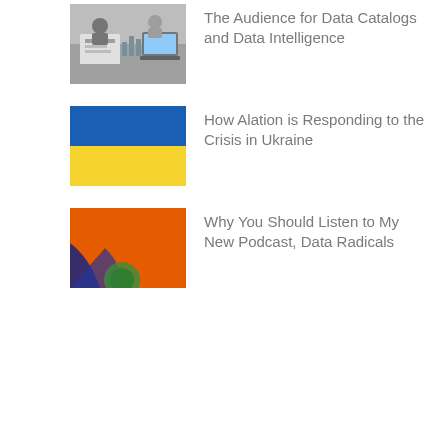[Figure (photo): People working at a desk with charts and laptops (thumbnail image)]
The Audience for Data Catalogs and Data Intelligence
[Figure (photo): Ukrainian flag (blue and yellow) thumbnail image]
How Alation is Responding to the Crisis in Ukraine
[Figure (photo): Orange and dark abstract image thumbnail (podcast)]
Why You Should Listen to My New Podcast, Data Radicals